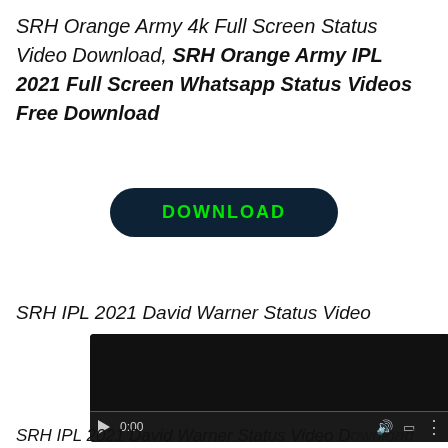SRH Orange Army 4k Full Screen Status Video Download, SRH Orange Army IPL 2021 Full Screen Whatsapp Status Videos Free Download
[Figure (other): Dark navy rounded rectangle download button with green bold text DOWNLOAD]
SRH IPL 2021 David Warner Status Video
[Figure (screenshot): Embedded video player showing dark/black video content with playback controls: play button, time 0:00, volume icon, fullscreen icon, more options icon, and a progress bar at the bottom]
SRH IPL 2021 David Warner Status Video Download